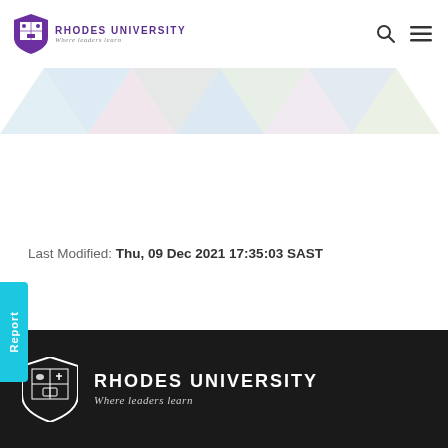[Figure (logo): Rhodes University logo with purple shield and text 'RHODES UNIVERSITY Where leaders learn' in page header]
[Figure (illustration): Decorative geometric triangle banner in pastel colors (blue, green, pink, grey)]
Last Modified: Thu, 09 Dec 2021 17:35:03 SAST
[Figure (other): Cyan vertical 'Report' button on left edge]
[Figure (logo): Rhodes University footer logo with white shield and text 'RHODES UNIVERSITY Where leaders learn' on dark background]